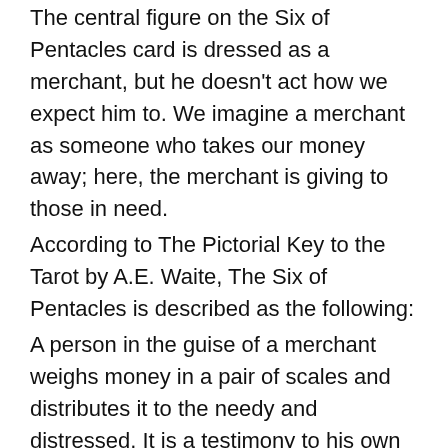The central figure on the Six of Pentacles card is dressed as a merchant, but he doesn't act how we expect him to. We imagine a merchant as someone who takes our money away; here, the merchant is giving to those in need.
According to The Pictorial Key to the Tarot by A.E. Waite, The Six of Pentacles is described as the following:
A person in the guise of a merchant weighs money in a pair of scales and distributes it to the needy and distressed. It is a testimony to his own success in life, as well as to his goodness of heart.
Divinatory Meanings: Presents, gifts, gratification another account says attention, vigilance now is the accepted time, present prosperity, etc.
Reversed: Desire, cupidity, envy, jealousy, illusion.
The central figure on the Six of Pentacles card is dressed as a merchant, but he doesn't act how we expect him to.